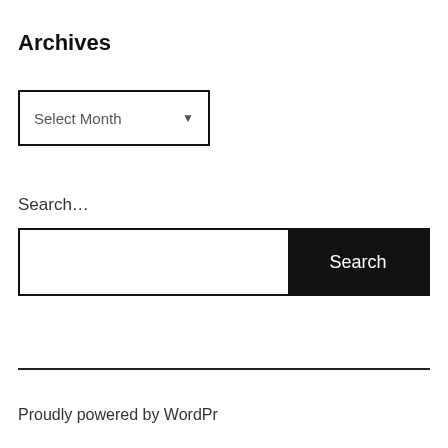Archives
Select Month
Search…
Search
Proudly powered by WordPress